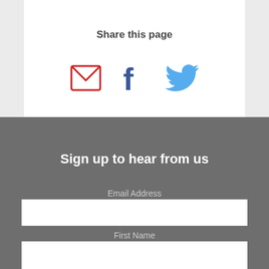Share this page
[Figure (infographic): Social sharing icons: email (red envelope), Facebook (dark blue f), Twitter (light blue bird)]
Sign up to hear from us
Email Address
First Name